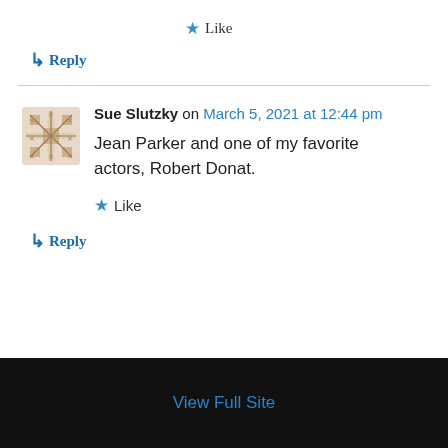★ Like
↳ Reply
Sue Slutzky on March 5, 2021 at 12:44 pm
Jean Parker and one of my favorite actors, Robert Donat.
★ Like
↳ Reply
View Full Site